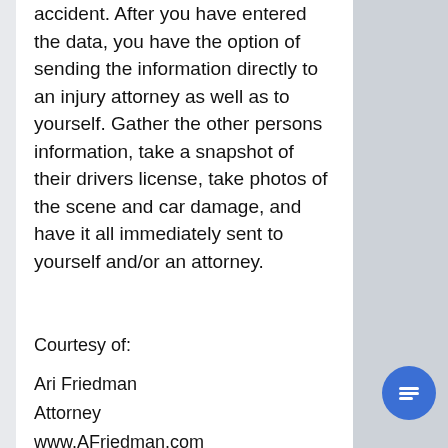accident. After you have entered the data, you have the option of sending the information directly to an injury attorney as well as to yourself. Gather the other persons information, take a snapshot of their drivers license, take photos of the scene and car damage, and have it all immediately sent to yourself and/or an attorney.
Courtesy of:
Ari Friedman
Attorney
www.AFriedman.com
Posted in Car accident lawyer, Uncategorized